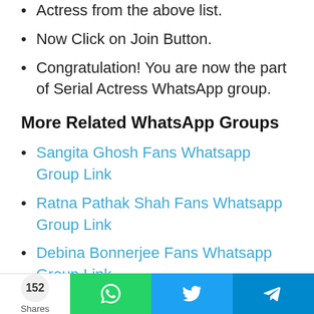Actress from the above list.
Now Click on Join Button.
Congratulation! You are now the part of Serial Actress WhatsApp group.
More Related WhatsApp Groups
Sangita Ghosh Fans Whatsapp Group Link
Ratna Pathak Shah Fans Whatsapp Group Link
Debina Bonnerjee Fans Whatsapp Group Link
Manini Mishra Fans Whatsapp Group Link
Surveen Chawla Fans Whatsapp Group Link